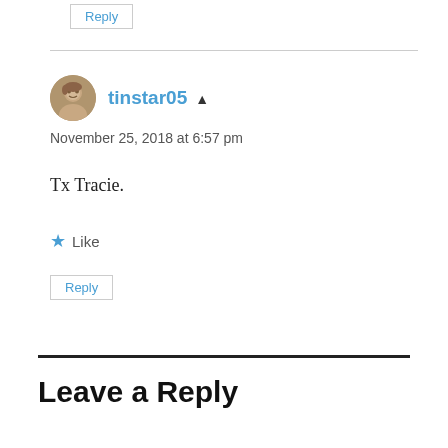Reply
tinstar05 ▲
November 25, 2018 at 6:57 pm
Tx Tracie.
★ Like
Reply
Leave a Reply